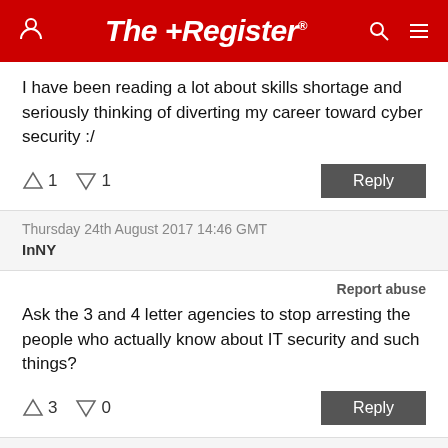The Register
I have been reading a lot about skills shortage and seriously thinking of diverting my career toward cyber security :/
↑1  ↓1  Reply
Thursday 24th August 2017 14:46 GMT
InNY
Report abuse
Ask the 3 and 4 letter agencies to stop arresting the people who actually know about IT security and such things?
↑3  ↓0  Reply
Thursday 24th August 2017 15:11 GMT
Joe Harrison